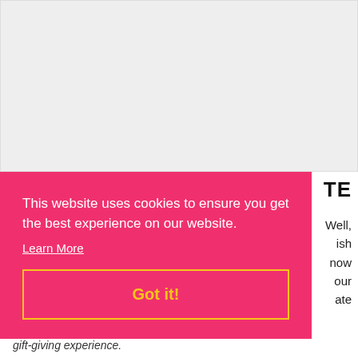[Figure (other): Gray placeholder image area occupying the top portion of the page]
TE
Well, ish now our ate
gift-giving experience.
This website uses cookies to ensure you get the best experience on our website.
Learn More
Got it!